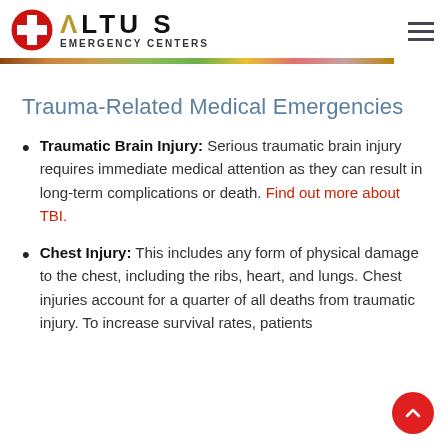[Figure (logo): Altus Emergency Centers logo with red cross circle icon and gold/black text]
Trauma-Related Medical Emergencies
Traumatic Brain Injury: Serious traumatic brain injury requires immediate medical attention as they can result in long-term complications or death. Find out more about TBI.
Chest Injury: This includes any form of physical damage to the chest, including the ribs, heart, and lungs. Chest injuries account for a quarter of all deaths from traumatic injury. To increase survival rates, patients